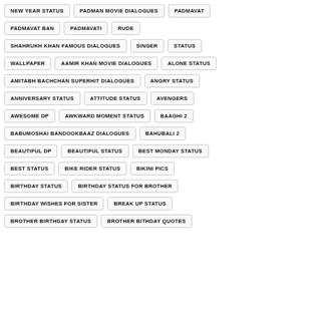NEW YEAR STATUS
PADMAN MOVIE DIALOGUES
PADMAVAT
PADMAVAT BAN
PADMAVATI
RUDE
SHAHRUKH KHAN FAMOUS DIALOGUES
SINGER
STATUS
WALLPAPER
AAMIR KHAN MOVIE DIALOGUES
ALONE STATUS
AMITABH BACHCHAN SUPERHIT DIALOGUES
ANGRY STATUS
ANNIVERSARY STATUS
ATTITUDE STATUS
AVENGERS
AWESOME DP
AWKWARD MOMENT STATUS
BAAGHI 2
BABUMOSHAI BANDOOKBAAZ DIALOGUES
BAHUBALI 2
BEAUTIFUL DP
BEAUTIFUL STATUS
BEST MONDAY STATUS
BEST STATUS
BIKE RIDER STATUS
BIKINI PICS
BIRTHDAY STATUS
BIRTHDAY STATUS FOR BROTHER
BIRTHDAY WISHES FOR SISTER
BREAK UP STATUS
BROTHER BIRTHDAY STATUS
BROTHER BITHDAY QUOTES